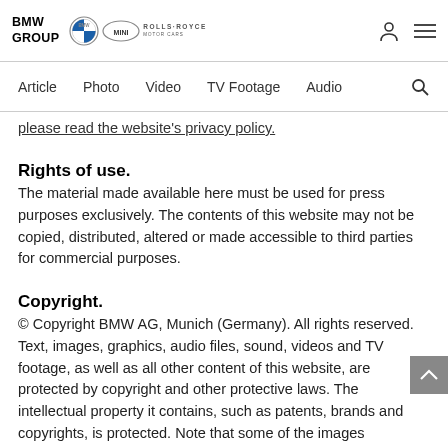BMW GROUP | BMW | MINI | ROLLS-ROYCE
Article  Photo  Video  TV Footage  Audio
please read the website's privacy policy.
Rights of use.
The material made available here must be used for press purposes exclusively. The contents of this website may not be copied, distributed, altered or made accessible to third parties for commercial purposes.
Copyright.
© Copyright BMW AG, Munich (Germany). All rights reserved. Text, images, graphics, audio files, sound, videos and TV footage, as well as all other content of this website, are protected by copyright and other protective laws. The intellectual property it contains, such as patents, brands and copyrights, is protected. Note that some of the images contained in the websites are protected by